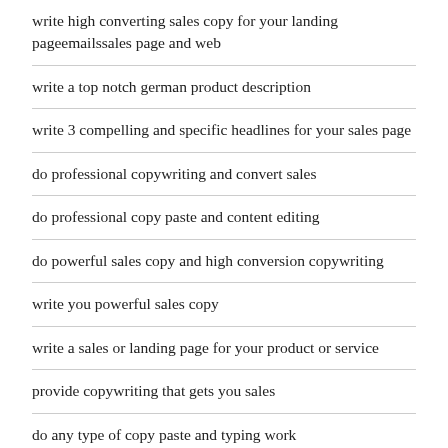write high converting sales copy for your landing pageemailssales page and web
write a top notch german product description
write 3 compelling and specific headlines for your sales page
do professional copywriting and convert sales
do professional copy paste and content editing
do powerful sales copy and high conversion copywriting
write you powerful sales copy
write a sales or landing page for your product or service
provide copywriting that gets you sales
do any type of copy paste and typing work